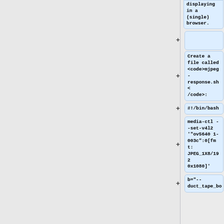displaying in a (single) browser.
Create a file called <code>mjpeg-response.sh</code>:
#!/bin/bash
media-ctl --set-v4l2 '"ov5640 1-003c":0[fmt:JPEG_1X8/1920x1080]'
b="--duct_tape_bo